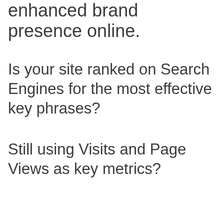enhanced brand presence online.
Is your site ranked on Search Engines for the most effective key phrases?
Still using Visits and Page Views as key metrics?